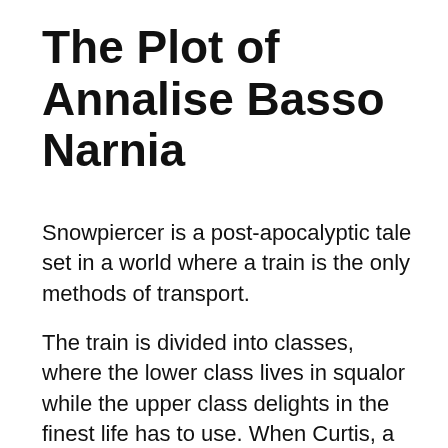The Plot of Annalise Basso Narnia
Snowpiercer is a post-apocalyptic tale set in a world where a train is the only methods of transport.
The train is divided into classes, where the lower class lives in squalor while the upper class delights in the finest life has to use. When Curtis, a member of the lower class, learns of a plot to take and overthrow the elite control of the train for themselves, he must choose whether or not to sign up with